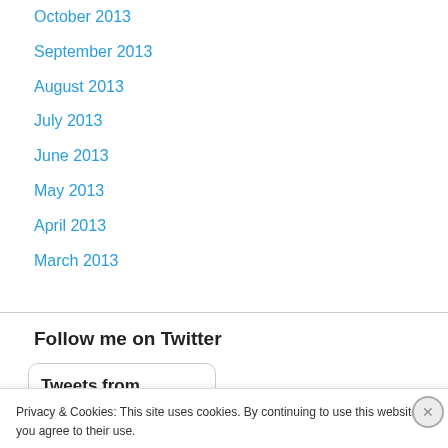October 2013
September 2013
August 2013
July 2013
June 2013
May 2013
April 2013
March 2013
Follow me on Twitter
Tweets from
Privacy & Cookies: This site uses cookies. By continuing to use this website, you agree to their use.
To find out more, including how to control cookies, see here: Cookie Policy
Close and accept